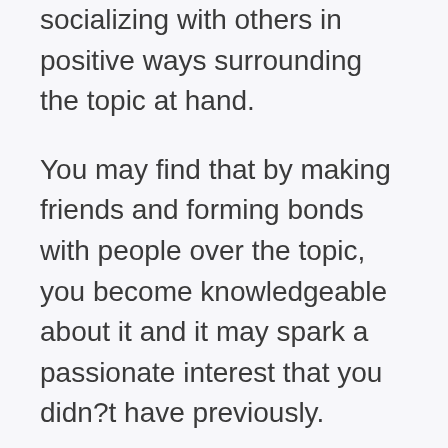socializing with others in positive ways surrounding the topic at hand.
You may find that by making friends and forming bonds with people over the topic, you become knowledgeable about it and it may spark a passionate interest that you didn?t have previously.
It?s important for you to get more involved and become more passionate about the things that you teach. Otherwise, you?re going to get burnt out and annoyed by it over time, which can lead to you either upsetting some people you?re coaching or